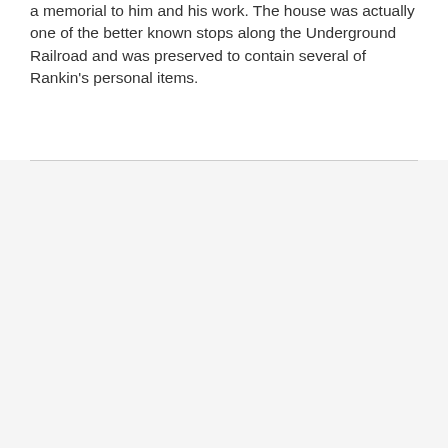a memorial to him and his work. The house was actually one of the better known stops along the Underground Railroad and was preserved to contain several of Rankin's personal items.